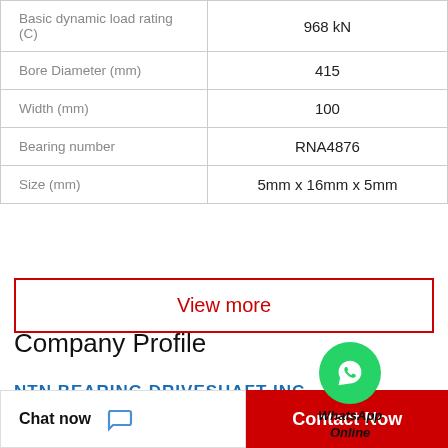| Property | Value |
| --- | --- |
| Basic dynamic load rating (C) | 968 kN |
| Bore Diameter (mm) | 415 |
| Width (mm) | 100 |
| Bearing number | RNA4876 |
| Size (mm) | 5mm x 16mm x 5mm |
[Figure (logo): WhatsApp green circle icon with phone symbol, labeled 'WhatsApp Online']
View more
Company Profile
NTN BEARING DRIVESHAFT INC
Chat now
Contact Now